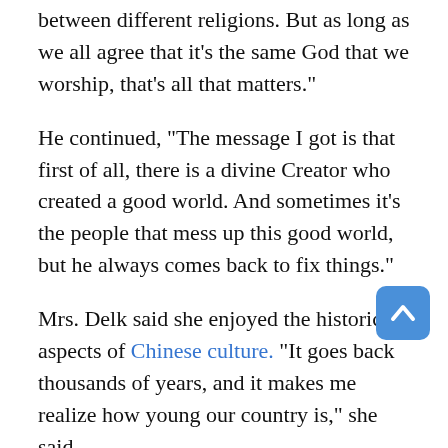between different religions. But as long as we all agree that it’s the same God that we worship, that’s all that matters.”
He continued, “The message I got is that first of all, there is a divine Creator who created a good world. And sometimes it’s the people that mess up this good world, but he always comes back to fix things.”
Mrs. Delk said she enjoyed the historical aspects of Chinese culture. “It goes back thousands of years, and it makes me realize how young our country is,” she said.
The couple lived in South Korea for a time, and Mr. Delk’s mother is Japanese.